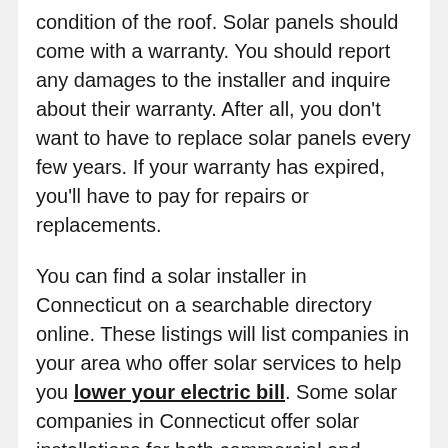condition of the roof. Solar panels should come with a warranty. You should report any damages to the installer and inquire about their warranty. After all, you don't want to have to replace solar panels every few years. If your warranty has expired, you'll have to pay for repairs or replacements.
You can find a solar installer in Connecticut on a searchable directory online. These listings will list companies in your area who offer solar services to help you lower your electric bill. Some solar companies in Connecticut offer solar installations for both commercial and residential homes. These installations can boost your property value and help the state move towards energy independence. And, you can even save on electricity bills with a solar installation in Connecticut. If you're interested in learning more about solar, Connecticut is one of the best states in the country for it.